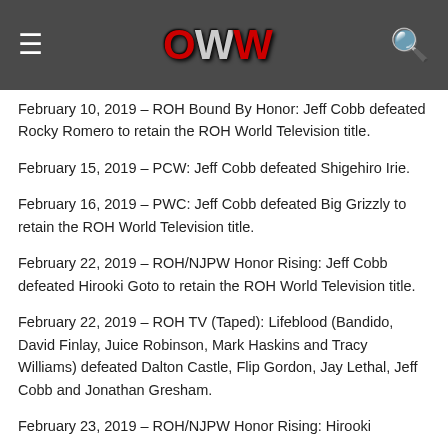OWW
February 10, 2019 – ROH Bound By Honor: Jeff Cobb defeated Rocky Romero to retain the ROH World Television title.
February 15, 2019 – PCW: Jeff Cobb defeated Shigehiro Irie.
February 16, 2019 – PWC: Jeff Cobb defeated Big Grizzly to retain the ROH World Television title.
February 22, 2019 – ROH/NJPW Honor Rising: Jeff Cobb defeated Hirooki Goto to retain the ROH World Television title.
February 22, 2019 – ROH TV (Taped): Lifeblood (Bandido, David Finlay, Juice Robinson, Mark Haskins and Tracy Williams) defeated Dalton Castle, Flip Gordon, Jay Lethal, Jeff Cobb and Jonathan Gresham.
February 23, 2019 – ROH/NJPW Honor Rising: Hirooki